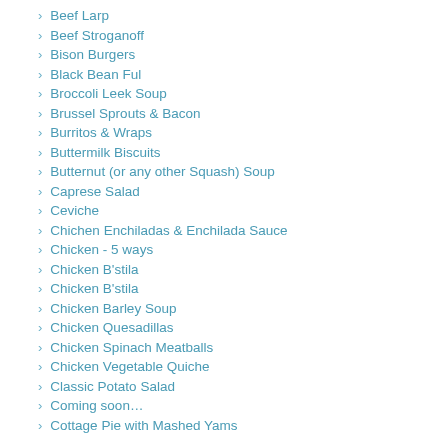Beef Larp
Beef Stroganoff
Bison Burgers
Black Bean Ful
Broccoli Leek Soup
Brussel Sprouts & Bacon
Burritos & Wraps
Buttermilk Biscuits
Butternut (or any other Squash) Soup
Caprese Salad
Ceviche
Chichen Enchiladas & Enchilada Sauce
Chicken - 5 ways
Chicken B'stila
Chicken B'stila
Chicken Barley Soup
Chicken Quesadillas
Chicken Spinach Meatballs
Chicken Vegetable Quiche
Classic Potato Salad
Coming soon…
Cottage Pie with Mashed Yams